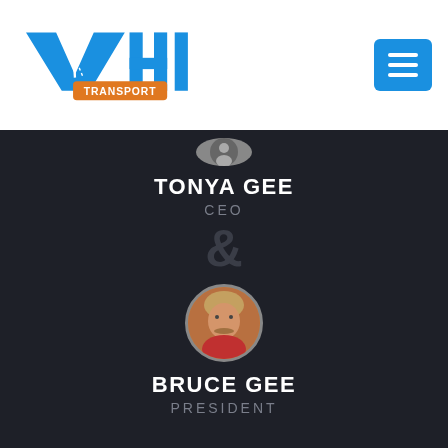[Figure (logo): VHI Transport logo with blue stylized V and H letters and orange TRANSPORT badge]
[Figure (other): Blue hamburger/menu icon button with three white horizontal lines]
[Figure (photo): Partially visible circular profile photo of Tonya Gee at top]
TONYA GEE
CEO
&
[Figure (photo): Circular profile photo of Bruce Gee, a man with light brown hair and mustache wearing a red shirt]
BRUCE GEE
PRESIDENT